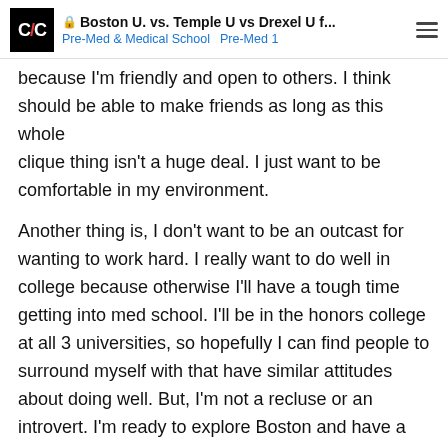Boston U. vs. Temple U vs Drexel U f... | Pre-Med & Medical School  Pre-Med 1
because I'm friendly and open to others. I think should be able to make friends as long as this whole clique thing isn't a huge deal. I just want to be comfortable in my environment.
Another thing is, I don't want to be an outcast for wanting to work hard. I really want to do well in college because otherwise I'll have a tough time getting into med school. I'll be in the honors college at all 3 universities, so hopefully I can find people to surround myself with that have similar attitudes about doing well. But, I'm not a recluse or an introvert. I'm ready to explore Boston and have a great time. Just not a partier/drinker/smoker, I'd probably go to a few and be the sober friend or something haha.
For the most part I've been leaning t